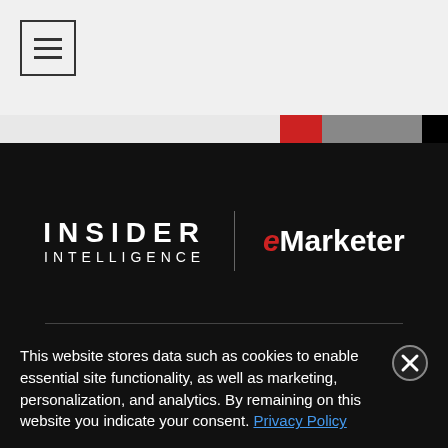[Figure (logo): Hamburger menu icon (three horizontal lines) inside a square border]
[Figure (illustration): Color strip bar with light gray, red, medium gray, and black sections]
[Figure (logo): Insider Intelligence | eMarketer combined logo on dark background]
Coverage
This website stores data such as cookies to enable essential site functionality, as well as marketing, personalization, and analytics. By remaining on this website you indicate your consent. Privacy Policy